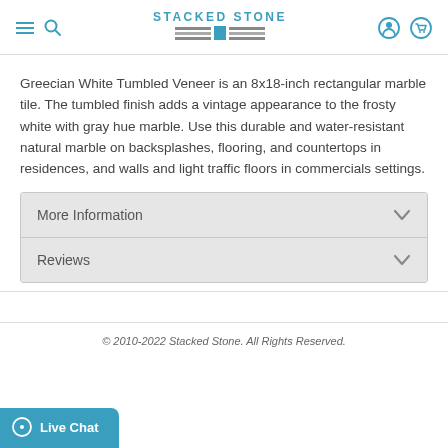STACKED STONE
Greecian White Tumbled Veneer is an 8x18-inch rectangular marble tile. The tumbled finish adds a vintage appearance to the frosty white with gray hue marble. Use this durable and water-resistant natural marble on backsplashes, flooring, and countertops in residences, and walls and light traffic floors in commercials settings.
More Information
Reviews
© 2010-2022 Stacked Stone. All Rights Reserved.